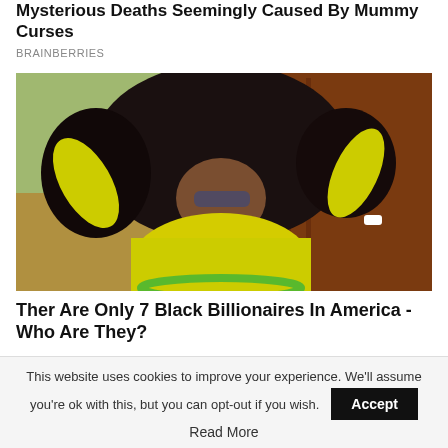Mysterious Deaths Seemingly Caused By Mummy Curses
BRAINBERRIES
[Figure (photo): A woman with large curly hair wearing sunglasses and a yellow long-sleeve top, posing with hands raised, outdoors near a wooden door and green foliage]
Ther Are Only 7 Black Billionaires In America - Who Are They?
This website uses cookies to improve your experience. We'll assume you're ok with this, but you can opt-out if you wish.
Accept
Read More